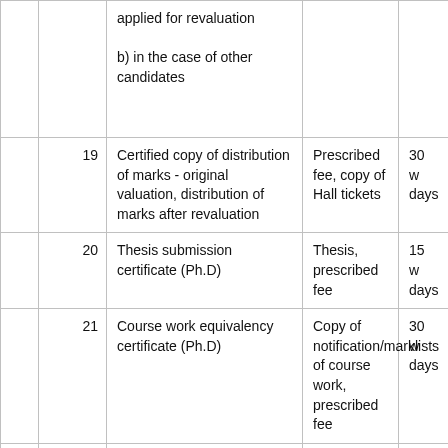|  |  | Service | Documents Required | Time Limit |
| --- | --- | --- | --- | --- |
|  |  | applied for revaluation

b) in the case of other candidates |  |  |
|  | 19 | Certified copy of distribution of marks - original valuation, distribution of marks after revaluation | Prescribed fee, copy of Hall tickets | 30 w days |
|  | 20 | Thesis submission certificate (Ph.D) | Thesis, prescribed fee | 15 w days |
|  | 21 | Course work equivalency certificate (Ph.D) | Copy of notification/marklists of course work, prescribed fee | 30 w days |
|  | 22 | Subject specification certificate (Ph.D) | Cerificate of Guide/Director, prescribed fee | 30 w days |